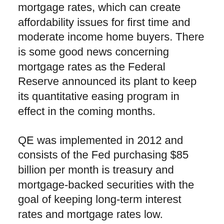mortgage rates, which can create affordability issues for first time and moderate income home buyers. There is some good news concerning mortgage rates as the Federal Reserve announced its plant to keep its quantitative easing program in effect in the coming months.
QE was implemented in 2012 and consists of the Fed purchasing $85 billion per month is treasury and mortgage-backed securities with the goal of keeping long-term interest rates and mortgage rates low.
Home builder confidence readings are not in synch with construction rates, as builder confidence was rapidly driven by excessive demand for homes against minimal inventories of available homes in many areas.
Components of November's HMI provide more precise